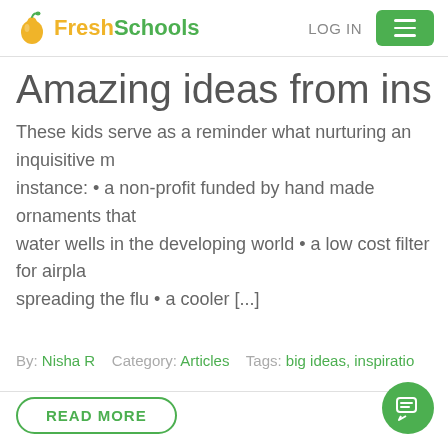FreshSchools | LOG IN
Amazing ideas from inspirin
These kids serve as a reminder what nurturing an inquisitive m... instance: • a non-profit funded by hand made ornaments that... water wells in the developing world • a low cost filter for airpla... spreading the flu • a cooler [...]
By: Nisha R    Category: Articles    Tags: big ideas, inspiratio
READ MORE